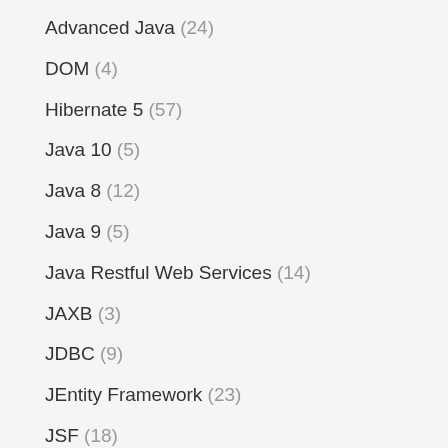Advanced Java (24)
DOM (4)
Hibernate 5 (57)
Java 10 (5)
Java 8 (12)
Java 9 (5)
Java Restful Web Services (14)
JAXB (3)
JDBC (9)
JEntity Framework (23)
JSF (18)
JSP-Servlet (25)